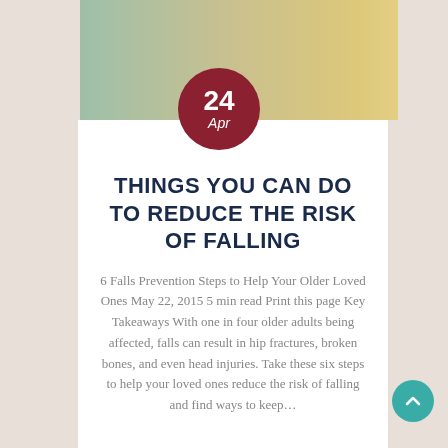[Figure (photo): Photo of an older woman with a caregiver in a bright outdoor/indoor setting]
THINGS YOU CAN DO TO REDUCE THE RISK OF FALLING
6 Falls Prevention Steps to Help Your Older Loved Ones May 22, 2015 5 min read Print this page Key Takeaways With one in four older adults being affected, falls can result in hip fractures, broken bones, and even head injuries. Take these six steps to help your loved ones reduce the risk of falling and find ways to keep...